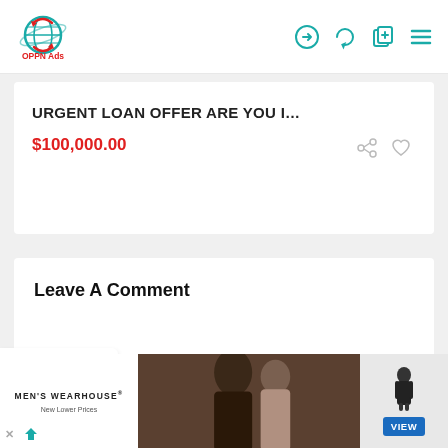[Figure (logo): OPPN Ads logo - globe with arrows and red text]
[Figure (screenshot): Navigation icons: login, refresh, add, menu (hamburger) in teal color]
URGENT LOAN OFFER ARE YOU I...
$100,000.00
Leave A Comment
[Figure (photo): Men's Wearhouse advertisement showing couple in formalwear and man in suit with VIEW button]